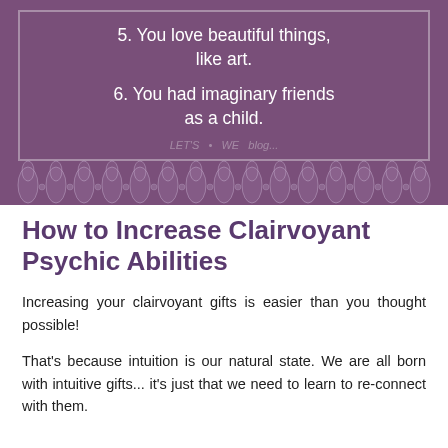[Figure (illustration): Purple background decorative image with two list items: '5. You love beautiful things, like art.' and '6. You had imaginary friends as a child.' with a mandala decorative border pattern at the bottom and a watermark.]
How to Increase Clairvoyant Psychic Abilities
Increasing your clairvoyant gifts is easier than you thought possible!
That's because intuition is our natural state. We are all born with intuitive gifts... it's just that we need to learn to re-connect with them.